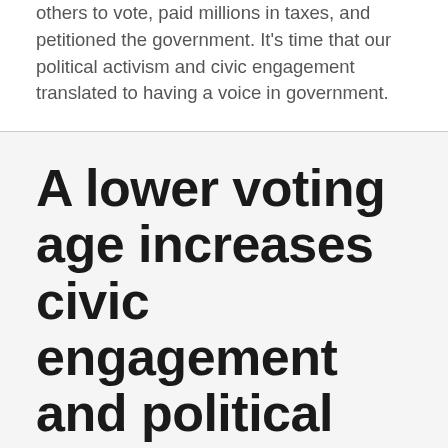others to vote, paid millions in taxes, and petitioned the government. It's time that our political activism and civic engagement translated to having a voice in government.
A lower voting age increases civic engagement and political awareness